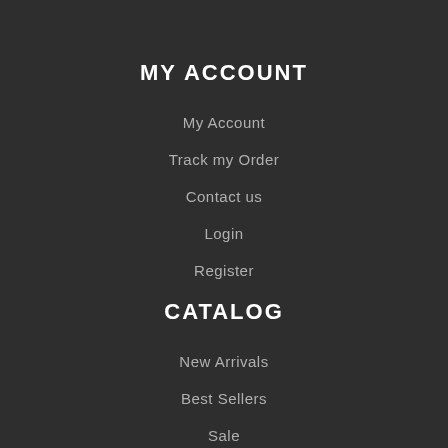MY ACCOUNT
My Account
Track my Order
Contact us
Login
Register
CATALOG
New Arrivals
Best Sellers
Sale